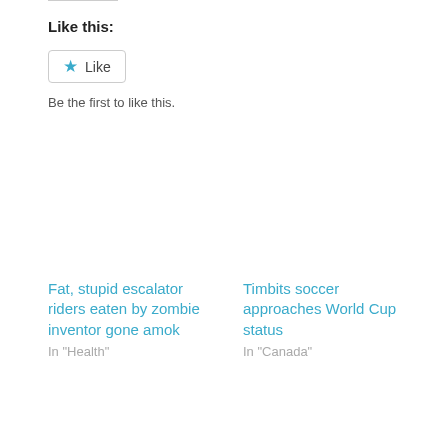Like this:
[Figure (screenshot): Like button widget with blue star icon and text 'Like']
Be the first to like this.
Fat, stupid escalator riders eaten by zombie inventor gone amok
In "Health"
Timbits soccer approaches World Cup status
In "Canada"
Workers unload leftovers at the office